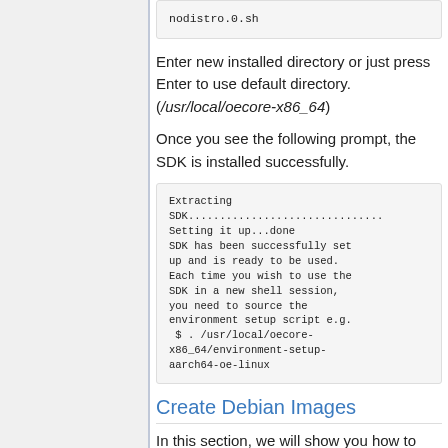[Figure (screenshot): Code block showing: nodistro.0.sh]
Enter new installed directory or just press Enter to use default directory. (/usr/local/oecore-x86_64)
Once you see the following prompt, the SDK is installed successfully.
[Figure (screenshot): Code block showing SDK installation output: Extracting SDK.............................. Setting it up...done SDK has been successfully set up and is ready to be used. Each time you wish to use the SDK in a new shell session, you need to source the environment setup script e.g.  $ . /usr/local/oecore-x86_64/environment-setup-aarch64-oe-linux]
Create Debian Images
In this section, we will show you how to